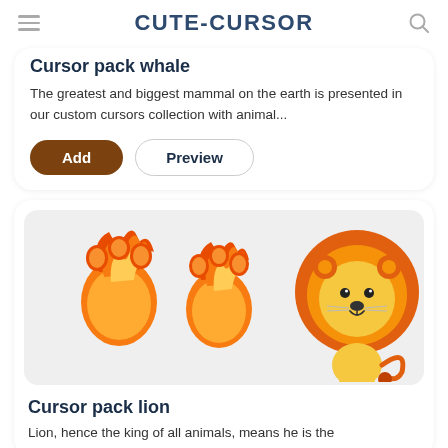CUTE-CURSOR
Cursor pack whale
The greatest and biggest mammal on the earth is presented in our custom cursors collection with animal...
[Figure (illustration): Lion cursor pack icons: two orange flaming paw prints and a cartoon lion]
Cursor pack lion
Lion, hence the king of all animals, means he is the